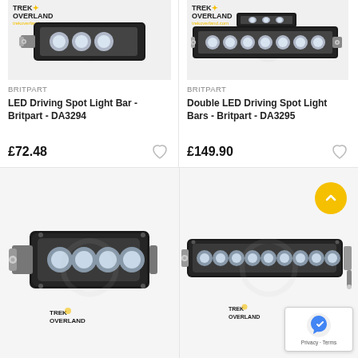[Figure (photo): LED Driving Spot Light Bar product image with Trek Overland logo watermark]
BRITPART
LED Driving Spot Light Bar - Britpart - DA3294
£72.48
[Figure (photo): Double LED Driving Spot Light Bars product image with Trek Overland logo watermark]
BRITPART
Double LED Driving Spot Light Bars - Britpart - DA3295
£149.90
[Figure (photo): LED spot light bar - short version, mounted product photo with Trek Overland watermark]
[Figure (photo): LED spot light bar - long version, mounted product photo with Trek Overland watermark]